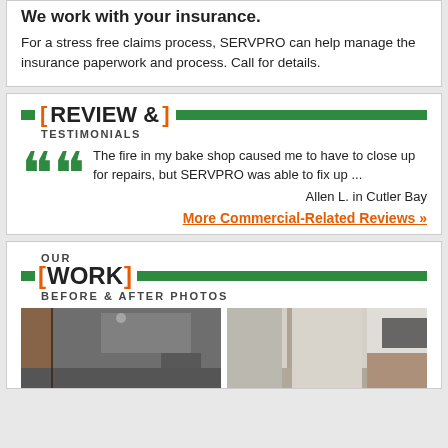We work with your insurance.
For a stress free claims process, SERVPRO can help manage the insurance paperwork and process. Call for details.
REVIEW & TESTIMONIALS
The fire in my bake shop caused me to have to close up for repairs, but SERVPRO was able to fix up ...
Allen L. in Cutler Bay
More Commercial-Related Reviews »
OUR WORK BEFORE & AFTER PHOTOS
[Figure (photo): Before photo of office room interior with dark walls and a copier machine]
[Figure (photo): After photo of office room interior with clean white walls and office furniture]